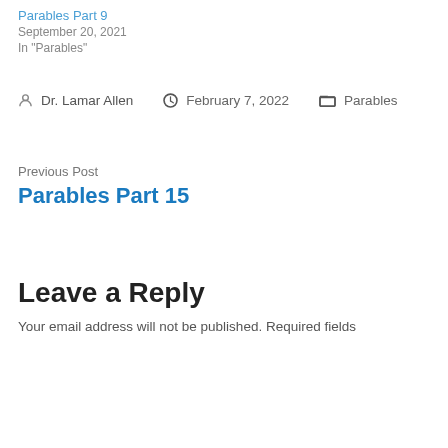Parables Part 9
September 20, 2021
In "Parables"
By Dr. Lamar Allen  February 7, 2022  Parables
Previous Post
Parables Part 15
Leave a Reply
Your email address will not be published. Required fields